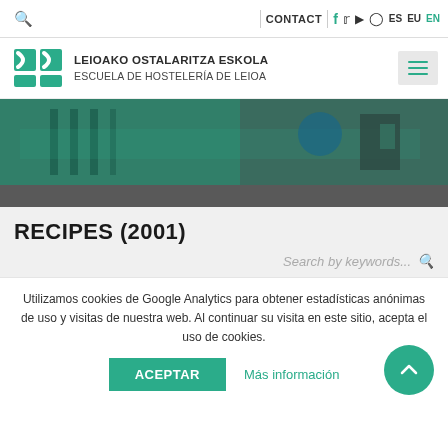CONTACT | ES EU EN — navigation bar with search, social icons
[Figure (logo): Leioako Ostalaritza Eskola / Escuela de Hostelería de Leioa logo with green double-bracket mark]
[Figure (photo): Hero banner photo of school building with green tint overlay]
RECIPES (2001)
Search by keywords...
Utilizamos cookies de Google Analytics para obtener estadísticas anónimas de uso y visitas de nuestra web. Al continuar su visita en este sitio, acepta el uso de cookies.
ACEPTAR
Más información